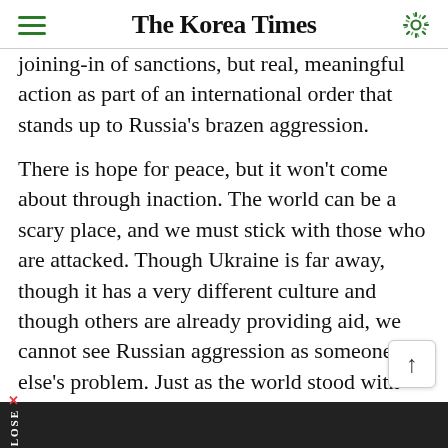The Korea Times
joining-in of sanctions, but real, meaningful action as part of an international order that stands up to Russia's brazen aggression.
There is hope for peace, but it won't come about through inaction. The world can be a scary place, and we must stick with those who are attacked. Though Ukraine is far away, though it has a very different culture and though others are already providing aid, we cannot see Russian aggression as someone else's problem. Just as the world stood with South Korea 72 years ago, it is the duty of the free and the strong to stand with Ukraine now. This is in Korea's own interest and — more importantly — it's the right